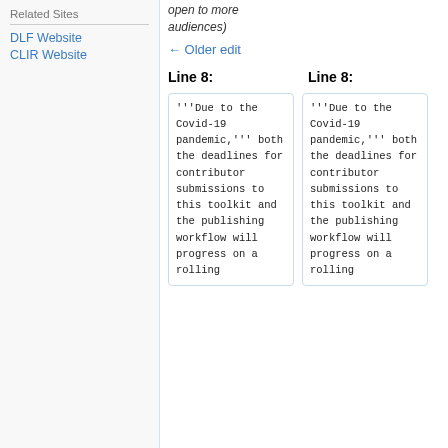Related Sites
DLF Website
CLIR Website
open to more audiences)
← Older edit
Line 8:
Line 8:
'''Due to the Covid-19 pandemic,'''  both the deadlines for contributor submissions to this toolkit and the publishing workflow will progress on a rolling
'''Due to the Covid-19 pandemic,'''  both the deadlines for contributor submissions to this toolkit and the publishing workflow will progress on a rolling